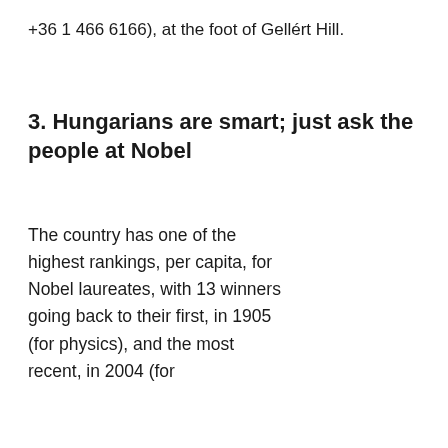+36 1 466 6166), at the foot of Gellért Hill.
3. Hungarians are smart; just ask the people at Nobel
The country has one of the highest rankings, per capita, for Nobel laureates, with 13 winners going back to their first, in 1905 (for physics), and the most recent, in 2004 (for